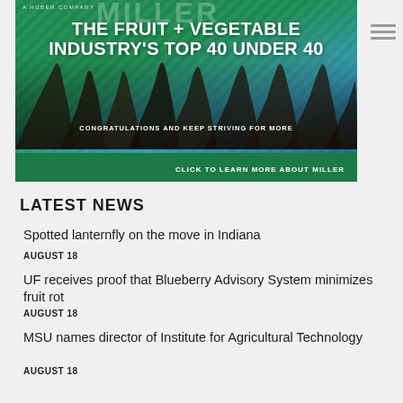[Figure (illustration): Advertisement banner for Miller (a Huber Company) promoting The Fruit + Vegetable Industry's Top 40 Under 40. Green and blue gradient background with crowd photo. Text: 'THE FRUIT + VEGETABLE INDUSTRY'S TOP 40 UNDER 40', 'CONGRATULATIONS AND KEEP STRIVING FOR MORE', 'CLICK TO LEARN MORE ABOUT MILLER']
LATEST NEWS
Spotted lanternfly on the move in Indiana
AUGUST 18
UF receives proof that Blueberry Advisory System minimizes fruit rot
AUGUST 18
MSU names director of Institute for Agricultural Technology
AUGUST 18